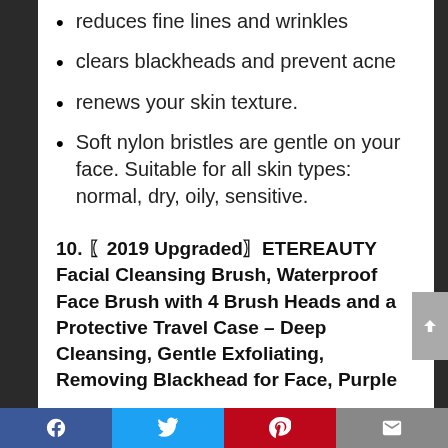reduces fine lines and wrinkles
clears blackheads and prevent acne
renews your skin texture.
Soft nylon bristles are gentle on your face. Suitable for all skin types: normal, dry, oily, sensitive.
10. 〖2019 Upgraded〗ETEREAUTY Facial Cleansing Brush, Waterproof Face Brush with 4 Brush Heads and a Protective Travel Case – Deep Cleansing, Gentle Exfoliating, Removing Blackhead for Face, Purple
Facebook Twitter Pinterest Email